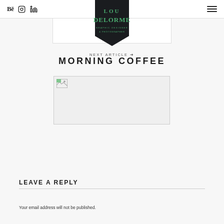Bē  Instagram  LinkedIn  [hamburger menu]
[Figure (logo): Lou Delorme Graphic Designer & Photographer logo badge — dark pentagon/shield shape with teal lettering]
NEXT ARTICLE →
MORNING COFFEE
[Figure (photo): Broken/missing image placeholder with small icon in top-left corner, bordered rectangle]
LEAVE A REPLY
Your email address will not be published.